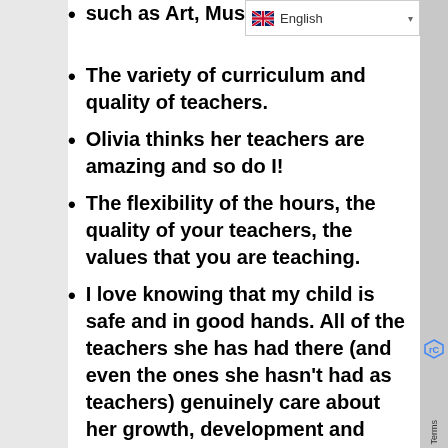such as Art, Music, [truncated]
The variety of curriculum and quality of teachers.
Olivia thinks her teachers are amazing and so do I!
The flexibility of the hours, the quality of your teachers, the values that you are teaching.
I love knowing that my child is safe and in good hands. All of the teachers she has had there (and even the ones she hasn't had as teachers) genuinely care about her growth, development and overall happiness.